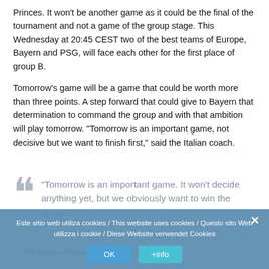Princes. It won't be another game as it could be the final of the tournament and not a game of the group stage. This Wednesday at 20:45 CEST two of the best teams of Europe, Bayern and PSG, will face each other for the first place of group B.
Tomorrow's game will be a game that could be worth more than three points. A step forward that could give to Bayern that determination to command the group and with that ambition will play tomorrow. "Tomorrow is an important game, not decisive but we want to finish first," said the Italian coach.
“Tomorrow is an important game. It won't decide anything yet, but we obviously want to win the group.”
Este sitio web utiliza cookies / This website uses cookies / Questo sito Web utilizza i cookie / Diese Website verwendet Cookies
— FC Bayern English (@FCBayerEN)